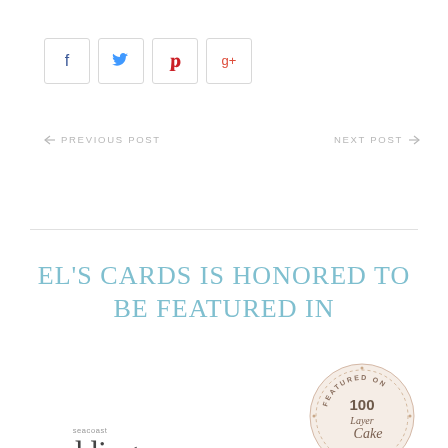[Figure (other): Social sharing buttons: Facebook (blue f), Twitter (blue bird), Pinterest (red p), Google+ (red g+), each in a light gray bordered square button]
← PREVIOUS POST    NEXT POST →
[Figure (other): Horizontal divider line]
EL'S CARDS IS HONORED TO BE FEATURED IN
[Figure (logo): Seacoast Weddings logo (text-based wordmark) on the left, and 100 Layer Cake 'Featured On' circular badge on the right]